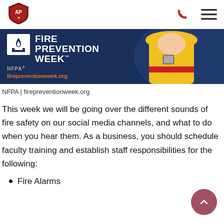[Figure (logo): AP shield logo in header nav bar]
[Figure (infographic): NFPA Fire Prevention Week banner with firefighter illustration, NFPA logo, title text and firepreventionweek.org URL]
NFPA | firepreventionweek.org
This week we will be going over the different sounds of fire safety on our social media channels, and what to do when you hear them. As a business, you should schedule faculty training and establish staff responsibilities for the following:
Fire Alarms